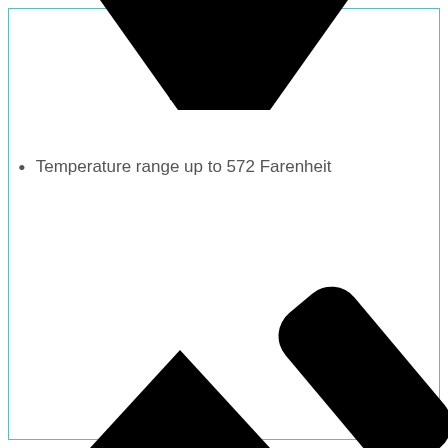[Figure (illustration): Large black downward-pointing arrow/chevron shape at top of page]
Temperature range up to 572 Farenheit
[Figure (illustration): Two black shapes at bottom: a mountain/triangle shape on the left and a diagonal rounded rectangle/pen shape on the right]